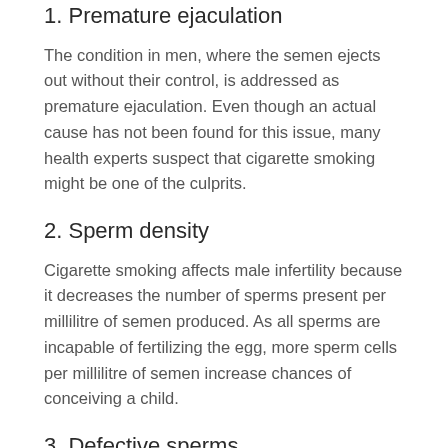1. Premature ejaculation
The condition in men, where the semen ejects out without their control, is addressed as premature ejaculation. Even though an actual cause has not been found for this issue, many health experts suspect that cigarette smoking might be one of the culprits.
2. Sperm density
Cigarette smoking affects male infertility because it decreases the number of sperms present per millilitre of semen produced. As all sperms are incapable of fertilizing the egg, more sperm cells per millilitre of semen increase chances of conceiving a child.
3. Defective sperms
The body of the sperm is broadly divided as head and tail. The head holds the genome copy of the male and x